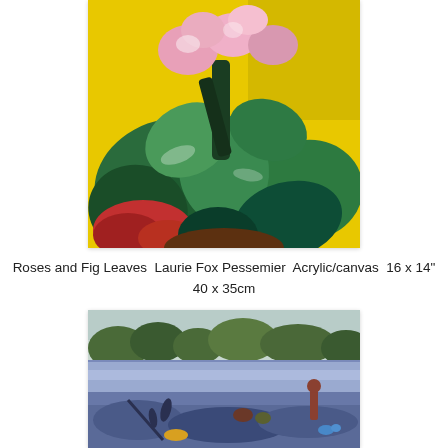[Figure (photo): Painting of roses and fig leaves in vivid colors — pink roses, large dark green leaves on a bright yellow background with red lower section. Acrylic painting with bold expressive brushstrokes.]
Roses and Fig Leaves  Laurie Fox Pessemier  Acrylic/canvas  16 x 14"
40 x 35cm
[Figure (photo): Painting of figures by a river or lake at dusk — people standing and sitting along a shoreline with trees in the background, rendered in blues, purples and greens with impressionistic style.]